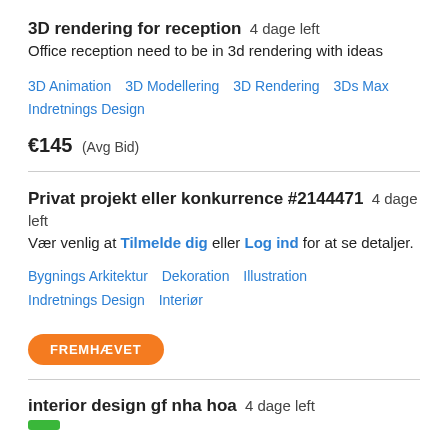3D rendering for reception  4 dage left
Office reception need to be in 3d rendering with ideas
3D Animation   3D Modellering   3D Rendering   3Ds Max   Indretnings Design
€145  (Avg Bid)
Privat projekt eller konkurrence #2144471  4 dage left
Vær venlig at Tilmelde dig eller Log ind for at se detaljer.
Bygnings Arkitektur   Dekoration   Illustration   Indretnings Design   Interiør
FREMHÆVET
interior design gf nha hoa  4 dage left